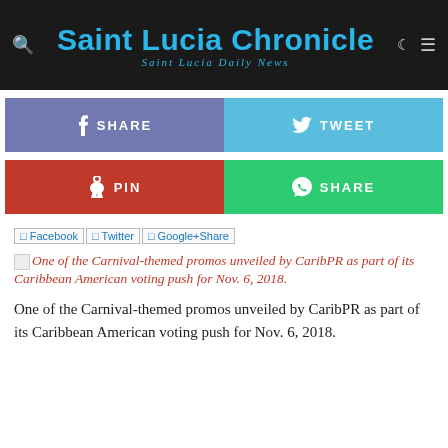Saint Lucia Chronicle — Saint Lucia Daily News
[Figure (screenshot): Social share buttons: Facebook SHARE (purple-blue), Twitter TWEET (cyan), Pinterest PIN (red), WhatsApp SHARE (green)]
Facebook | Twitter | Google+Share
One of the Carnival-themed promos unveiled by CaribPR as part of its Caribbean American voting push for Nov. 6, 2018.
One of the Carnival-themed promos unveiled by CaribPR as part of its Caribbean American voting push for Nov. 6, 2018.